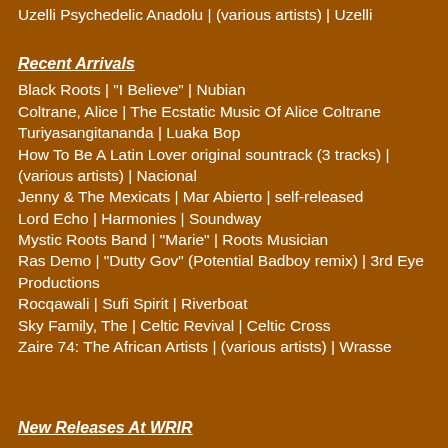Uzelli Psychedelic Anadolu | (various artists) | Uzelli
Recent Arrivals
Black Roots | "I Believe" | Nubian
Coltrane, Alice | The Ecstatic Music Of Alice Coltrane Turiyasangitananda | Luaka Bop
How To Be A Latin Lover original sountrack (3 tracks) | (various artists) | Nacional
Jenny & The Mexicats | Mar Abierto | self-released
Lord Echo | Harmonies | Soundway
Mystic Roots Band | "Marie" | Roots Musician
Ras Demo | "Dutty Gov" (Potential Badboy remix) | 3rd Eye Productions
Rocqawali | Sufi Spirit | Riverboat
Sky Family, The | Celtic Revival | Celtic Cross
Zaire 74: The African Artists | (various artists) | Wrasse
New Releases At WRIR
Afro-Cuban All Stars | Absolutely Live II: Viva Mexico! | DM Ahora